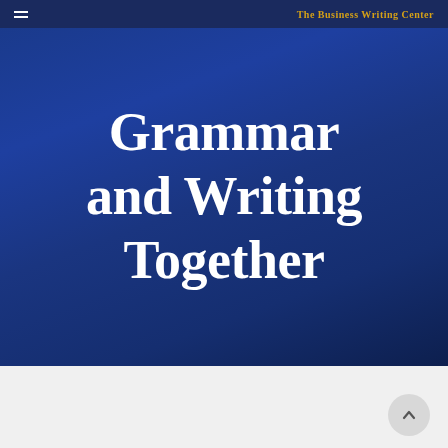The Business Writing Center
Grammar and Writing Together
[Figure (other): Scroll-to-top circular button with upward arrow]